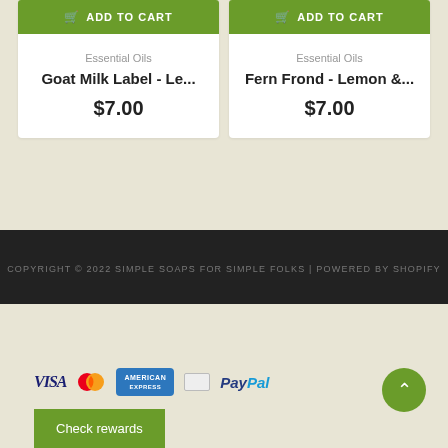[Figure (other): Add to Cart button for Goat Milk Label product]
[Figure (other): Add to Cart button for Fern Frond product]
Essential Oils
Goat Milk Label - Le...
$7.00
Essential Oils
Fern Frond - Lemon &...
$7.00
COPYRIGHT © 2022 SIMPLE SOAPS FOR SIMPLE FOLKS | POWERED BY SHOPIFY
[Figure (other): Payment icons: VISA, MasterCard, American Express, generic card, PayPal]
Check rewards